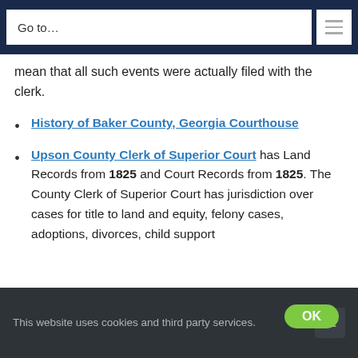Go to…
mean that all such events were actually filed with the clerk.
History of Baker County, Georgia Courthouse
Upson County Clerk of Superior Court has Land Records from 1825 and Court Records from 1825. The County Clerk of Superior Court has jurisdiction over cases for title to land and equity, felony cases, adoptions, divorces, child support
This website uses cookies and third party services.